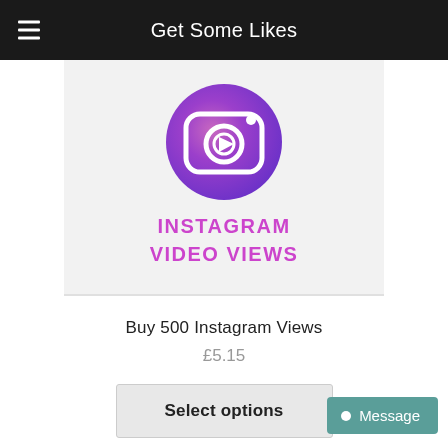Get Some Likes
[Figure (illustration): Instagram video views product image: circular gradient icon (purple to pink) with a camera and play button symbol, text below reads INSTAGRAM VIDEO VIEWS in pink uppercase letters, on a light grey background card]
Buy 500 Instagram Views
£5.15
Select options
Message